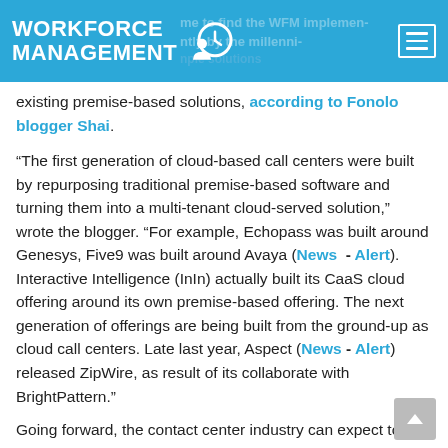WORKFORCE MANAGEMENT
existing premise-based solutions, according to Fonolo blogger Shai.
“The first generation of cloud-based call centers were built by repurposing traditional premise-based software and turning them into a multi-tenant cloud-served solution,” wrote the blogger. “For example, Echopass was built around Genesys, Five9 was built around Avaya (News - Alert). Interactive Intelligence (InIn) actually built its CaaS cloud offering around its own premise-based offering. The next generation of offerings are being built from the ground-up as cloud call centers. Late last year, Aspect (News - Alert) released ZipWire, as result of its collaborate with BrightPattern.”
Going forward, the contact center industry can expect to see more solutions built specifically for the cloud...